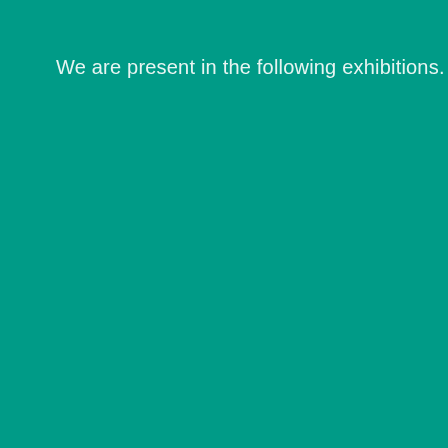We are present in the following exhibitions.